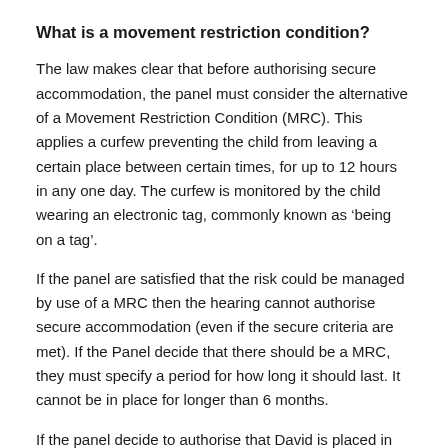What is a movement restriction condition?
The law makes clear that before authorising secure accommodation, the panel must consider the alternative of a Movement Restriction Condition (MRC). This applies a curfew preventing the child from leaving a certain place between certain times, for up to 12 hours in any one day. The curfew is monitored by the child wearing an electronic tag, commonly known as ‘being on a tag’.
If the panel are satisfied that the risk could be managed by use of a MRC then the hearing cannot authorise secure accommodation (even if the secure criteria are met). If the Panel decide that there should be a MRC, they must specify a period for how long it should last. It cannot be in place for longer than 6 months.
If the panel decide to authorise that David is placed in